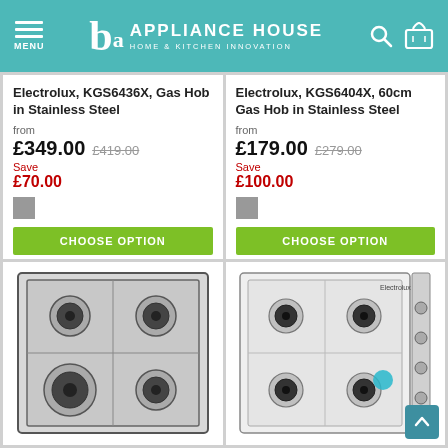MENU | APPLIANCE HOUSE HOME & KITCHEN INNOVATION
Electrolux, KGS6436X, Gas Hob in Stainless Steel
from £349.00 £419.00
Save £70.00
Electrolux, KGS6404X, 60cm Gas Hob in Stainless Steel
from £179.00 £279.00
Save £100.00
[Figure (photo): Electrolux gas hob stainless steel 4-burner, top-down view]
[Figure (photo): Electrolux white gas hob 4-burner with knobs on right side, top-down view]